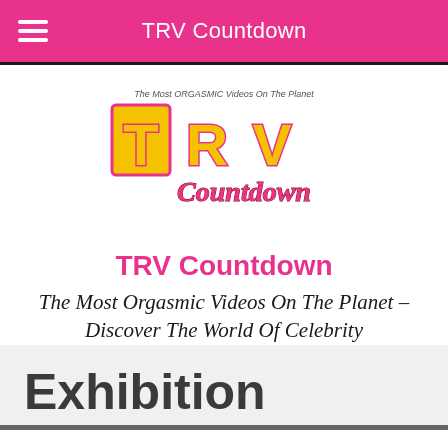TRV Countdown
[Figure (logo): TRV Countdown logo with large yellow block letters T R V with pink outlines and red script 'Countdown' overlaid. Small text above reads 'The Most ORGASMIC Videos On The Planet']
TRV Countdown
The Most Orgasmic Videos On The Planet – Discover The World Of Celebrity
Exhibition